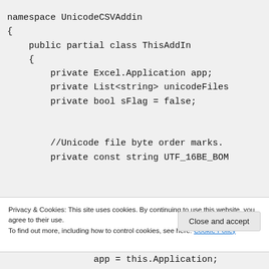[Figure (screenshot): Code snippet showing C# namespace UnicodeCSVAddin with partial class ThisAddIn containing private fields: Excel.Application app, List<string> unicodeFiles, bool sFlag = false, and a comment about Unicode file byte order marks, and private const string UTF_16BE_BOM]
Privacy & Cookies: This site uses cookies. By continuing to use this website, you agree to their use.
To find out more, including how to control cookies, see here: Cookie Policy
Close and accept
app = this.Application;